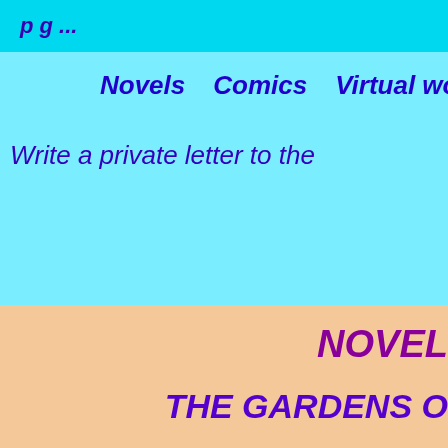Novels   Comics   Virtual wo
Write a private letter to the
NOVEL
THE GARDENS O
Two young eolis take birth on